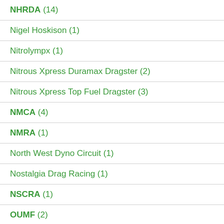NHRDA (14)
Nigel Hoskison (1)
Nitrolympx (1)
Nitrous Xpress Duramax Dragster (2)
Nitrous Xpress Top Fuel Dragster (3)
NMCA (4)
NMRA (1)
North West Dyno Circuit (1)
Nostalgia Drag Racing (1)
NSCRA (1)
OUMF (2)
Pardee Racing (1)
Performance by Fisher (5)